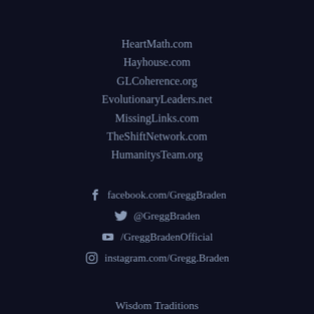HeartMath.com
Hayhouse.com
GLCoherence.org
EvolutionaryLeaders.net
MissingLinks.com
TheShiftNetwork.com
HumanitysTeam.org
facebook.com/GreggBraden
@GreggBraden
/GreggBradenOfficial
instagram.com/Gregg.Braden
Wisdom Traditions
Office of Gregg Braden